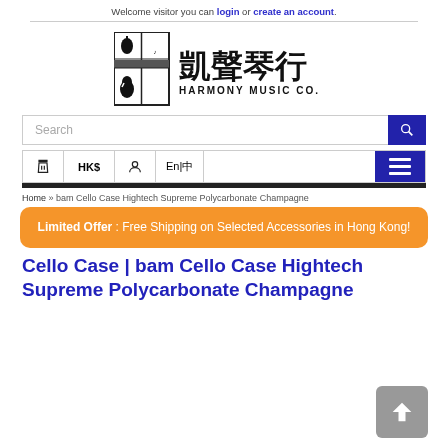Welcome visitor you can login or create an account.
[Figure (logo): Harmony Music Co. logo with Chinese characters and violin graphic]
Search
HK$ En|中
Home » bam Cello Case Hightech Supreme Polycarbonate Champagne
Limited Offer : Free Shipping on Selected Accessories in Hong Kong!
Cello Case | bam Cello Case Hightech Supreme Polycarbonate Champagne